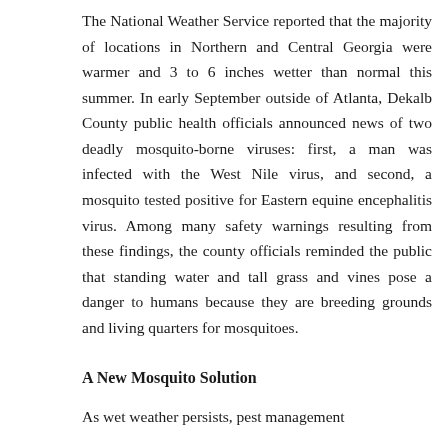The National Weather Service reported that the majority of locations in Northern and Central Georgia were warmer and 3 to 6 inches wetter than normal this summer. In early September outside of Atlanta, Dekalb County public health officials announced news of two deadly mosquito-borne viruses: first, a man was infected with the West Nile virus, and second, a mosquito tested positive for Eastern equine encephalitis virus. Among many safety warnings resulting from these findings, the county officials reminded the public that standing water and tall grass and vines pose a danger to humans because they are breeding grounds and living quarters for mosquitoes.
A New Mosquito Solution
As wet weather persists, pest management